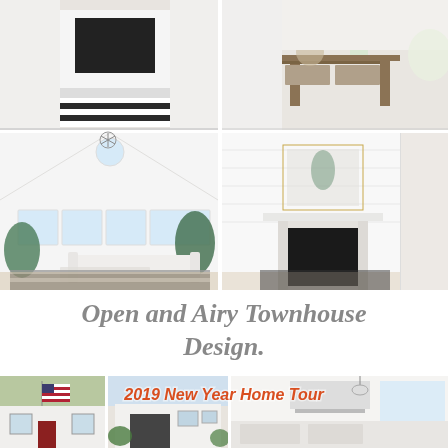[Figure (photo): Collage of four interior home photos showing modern farmhouse style rooms with white shiplap walls, fireplaces, black and white buffalo check rugs, plants, and light airy spaces]
Open and Airy Townhouse Design.
[Figure (photo): Bottom strip showing exterior and interior of a home with text '2019 New Year Home Tour' overlaid in orange italic text]